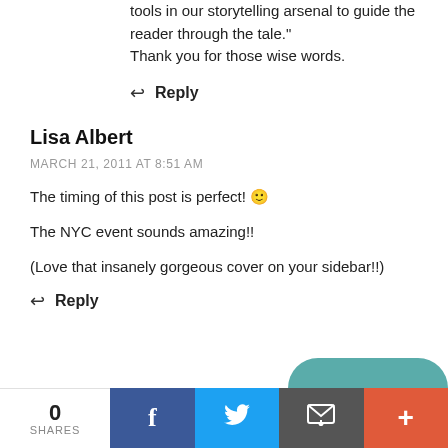tools in our storytelling arsenal to guide the reader through the tale." Thank you for those wise words.
↩ Reply
Lisa Albert
MARCH 21, 2011 AT 8:51 AM
The timing of this post is perfect! 🙂
The NYC event sounds amazing!!
(Love that insanely gorgeous cover on your sidebar!!)
↩ Reply
0 SHARES
f
🐦
✉
+